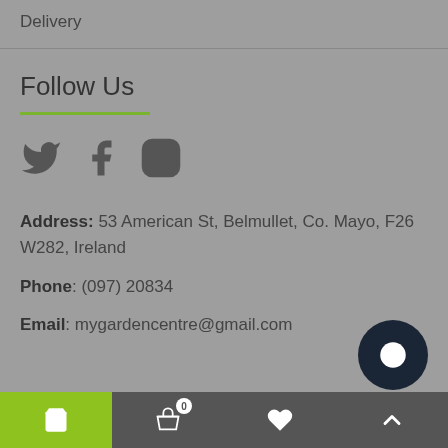Delivery
Follow Us
[Figure (other): Social media icons: Twitter bird, Facebook F, Instagram camera]
Address: 53 American St, Belmullet, Co. Mayo, F26 W282, Ireland
Phone: (097) 20834
Email: mygardencentre@gmail.com
Bottom navigation bar with cart, basket (0), heart, and up-arrow icons